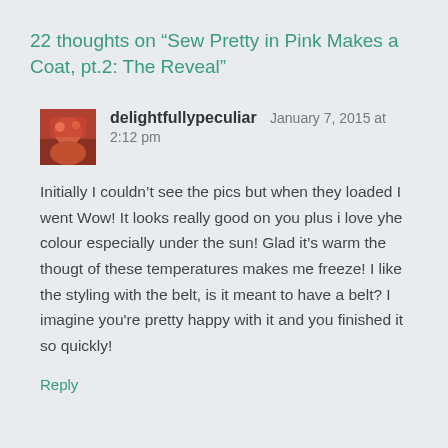22 thoughts on “Sew Pretty in Pink Makes a Coat, pt.2: The Reveal”
delightfullypeculiar   January 7, 2015 at 2:12 pm
Initially I couldn’t see the pics but when they loaded I went Wow! It looks really good on you plus i love yhe colour especially under the sun! Glad it’s warm the thougt of these temperatures makes me freeze! I like the styling with the belt, is it meant to have a belt? I imagine you're pretty happy with it and you finished it so quickly!
Reply